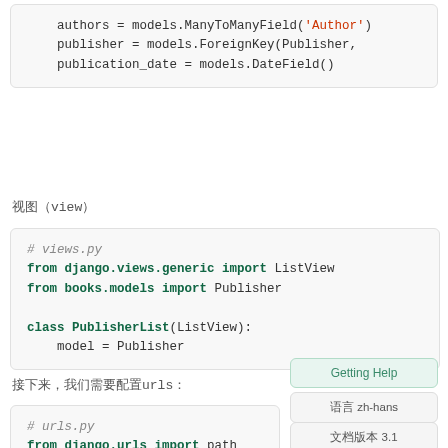[Figure (screenshot): Code block showing Python Django model fields: authors ManyToManyField, publisher ForeignKey with on_delete CASCADE, publication_date DateField]
视图（view）
[Figure (screenshot): Code block for views.py: from django.views.generic import ListView, from books.models import Publisher, class PublisherList(ListView): model = Publisher]
接下来，我们需要配置urls：
[Figure (screenshot): Code block for urls.py: from django.urls import path]